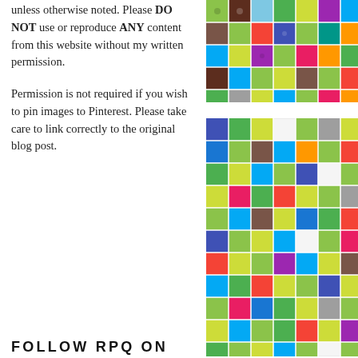unless otherwise noted. Please DO NOT use or reproduce ANY content from this website without my written permission.
[Figure (photo): Patchwork quilt image (top), colorful patterned fabric squares]
Permission is not required if you wish to pin images to Pinterest. Please take care to link correctly to the original blog post.
[Figure (photo): Patchwork quilt image (bottom), colorful patterned fabric squares]
FOLLOW RPQ ON INSTAGRAM
[Figure (logo): Instagram camera icon outline in black and white]
Four kitchen chairs, means making decided to make all four chair pillo blue and brown. Sorting through m brown prints in my stash; you see patchwork blocks.